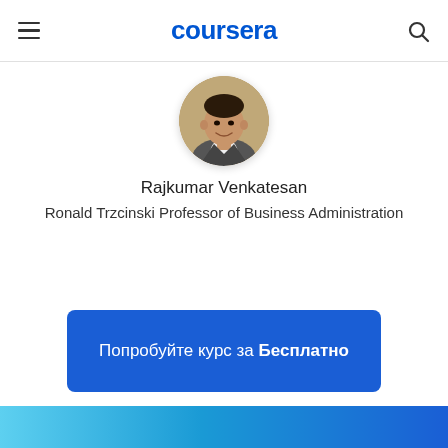coursera
[Figure (photo): Circular profile photo of Rajkumar Venkatesan, a man in a suit jacket and white shirt, smiling, with bookshelves in the background]
Rajkumar Venkatesan
Ronald Trzcinski Professor of Business Administration
Попробуйте курс за Бесплатно